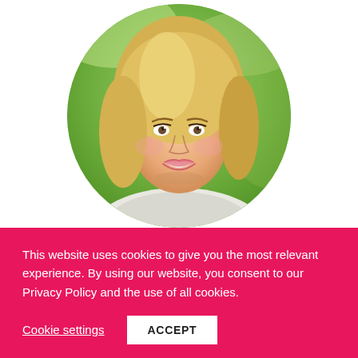[Figure (photo): Circular cropped outdoor portrait photo of a smiling young blonde woman in a green field/meadow background, wearing a white lace top. The photo is clipped to a circle shape.]
This website uses cookies to give you the most relevant experience. By using our website, you consent to our Privacy Policy and the use of all cookies.
Cookie settings
ACCEPT